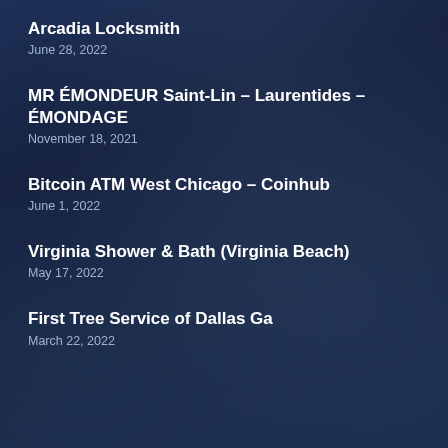Arcadia Locksmith
June 28, 2022
MR ÉMONDEUR Saint-Lin – Laurentides – ÉMONDAGE
November 18, 2021
Bitcoin ATM West Chicago – Coinhub
June 1, 2022
Virginia Shower & Bath (Virginia Beach)
May 17, 2022
First Tree Service of Dallas Ga
March 22, 2022